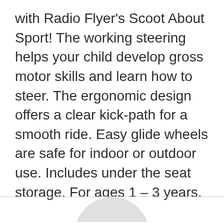with Radio Flyer's Scoot About Sport! The working steering helps your child develop gross motor skills and learn how to steer. The ergonomic design offers a clear kick-path for a smooth ride. Easy glide wheels are safe for indoor or outdoor use. Includes under the seat storage. For ages 1 – 3 years.